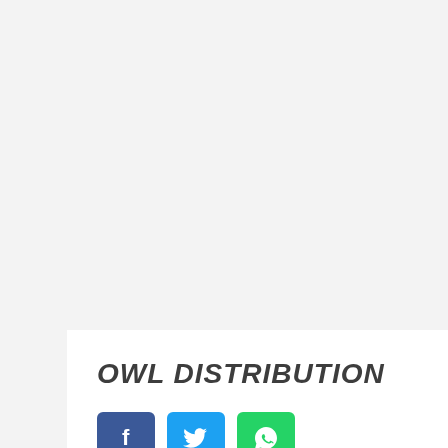OWL DISTRIBUTION
[Figure (infographic): Three social media share buttons: Facebook (blue), Twitter (light blue), WhatsApp (green)]